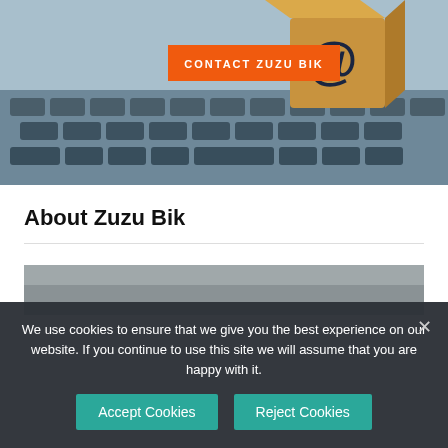[Figure (photo): A wooden cube with an '@' symbol on it resting on a laptop keyboard, with an orange overlay button reading 'CONTACT ZUZU BIK']
About Zuzu Bik
[Figure (photo): Partial view of a second image below the About Zuzu Bik section]
We use cookies to ensure that we give you the best experience on our website. If you continue to use this site we will assume that you are happy with it.
Accept Cookies  Reject Cookies